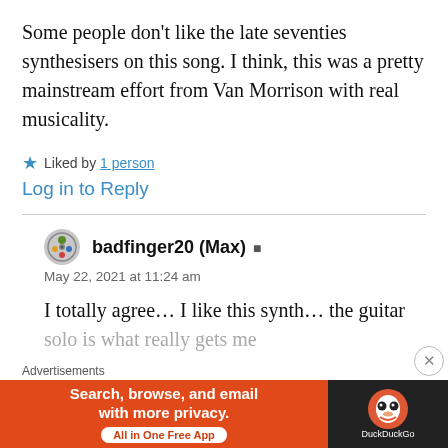Some people don’t like the late seventies synthesisers on this song. I think, this was a pretty mainstream effort from Van Morrison with real musicality.
★ Liked by 1 person
Log in to Reply
badfinger20 (Max)
May 22, 2021 at 11:24 am
I totally agree… I like this synth… the guitar solo is what really gets me
Advertisements
[Figure (screenshot): DuckDuckGo advertisement banner: orange left panel with 'Search, browse, and email with more privacy. All in One Free App' and dark right panel with DuckDuckGo logo.]